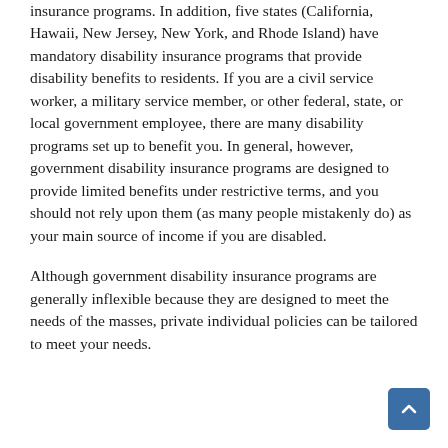insurance programs. In addition, five states (California, Hawaii, New Jersey, New York, and Rhode Island) have mandatory disability insurance programs that provide disability benefits to residents. If you are a civil service worker, a military service member, or other federal, state, or local government employee, there are many disability programs set up to benefit you. In general, however, government disability insurance programs are designed to provide limited benefits under restrictive terms, and you should not rely upon them (as many people mistakenly do) as your main source of income if you are disabled.
Although government disability insurance programs are generally inflexible because they are designed to meet the needs of the masses, private individual policies can be tailored to meet your needs.